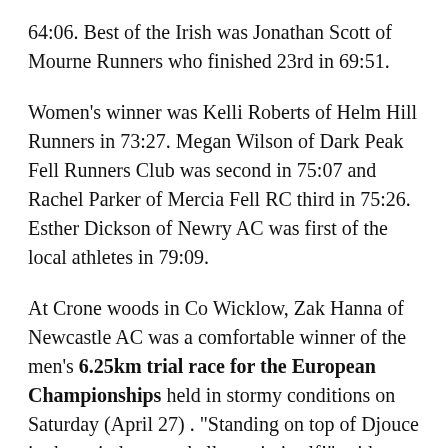64:06. Best of the Irish was Jonathan Scott of Mourne Runners who finished 23rd in 69:51.
Women's winner was Kelli Roberts of Helm Hill Runners in 73:27. Megan Wilson of Dark Peak Fell Runners Club was second in 75:07 and Rachel Parker of Mercia Fell RC third in 75:26. Esther Dickson of Newry AC was first of the local athletes in 79:09.
At Crone woods in Co Wicklow, Zak Hanna of Newcastle AC was a comfortable winner of the men's 6.25km trial race for the European Championships held in stormy conditions on Saturday (April 27). "Standing on top of Djouce in that wind was a challenge in itself!" said Hanna afterwards.
Megan Wilson of East Down had a flier in the women's race over the same distance, finishing four